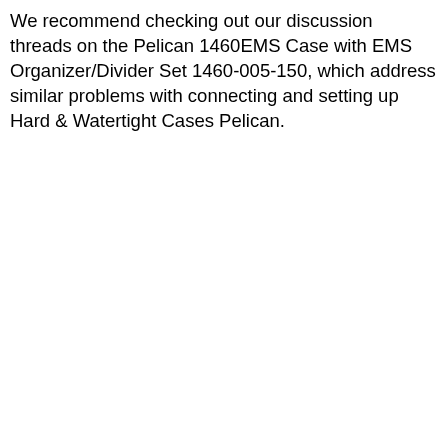We recommend checking out our discussion threads on the Pelican 1460EMS Case with EMS Organizer/Divider Set 1460-005-150, which address similar problems with connecting and setting up Hard & Watertight Cases Pelican.